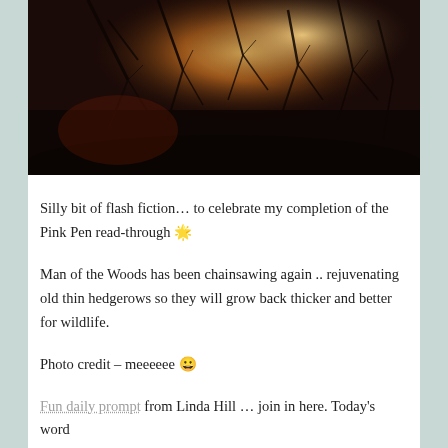[Figure (photo): Dark nature photo showing bare tree branches and twigs with warm light filtering through, suggesting fire or sunset glow behind the brush. Dark, moody woodland scene.]
Silly bit of flash fiction… to celebrate my completion of the Pink Pen read-through 🌟
Man of the Woods has been chainsawing again .. rejuvenating old thin hedgerows so they will grow back thicker and better for wildlife.
Photo credit – meeeeee 😀
Fun daily prompt from Linda Hill … join in here. Today's word